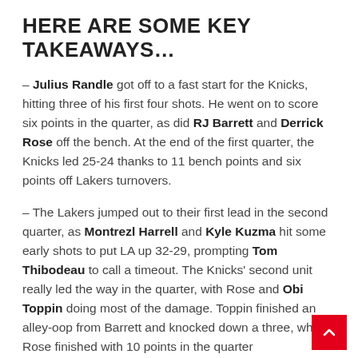HERE ARE SOME KEY TAKEAWAYS…
– Julius Randle got off to a fast start for the Knicks, hitting three of his first four shots. He went on to score six points in the quarter, as did RJ Barrett and Derrick Rose off the bench. At the end of the first quarter, the Knicks led 25-24 thanks to 11 bench points and six points off Lakers turnovers.
– The Lakers jumped out to their first lead in the second quarter, as Montrezl Harrell and Kyle Kuzma hit some early shots to put LA up 32-29, prompting Tom Thibodeau to call a timeout. The Knicks' second unit really led the way in the quarter, with Rose and Obi Toppin doing most of the damage. Toppin finished an alley-oop from Barrett and knocked down a three, while Rose finished with 10 points in the quarter